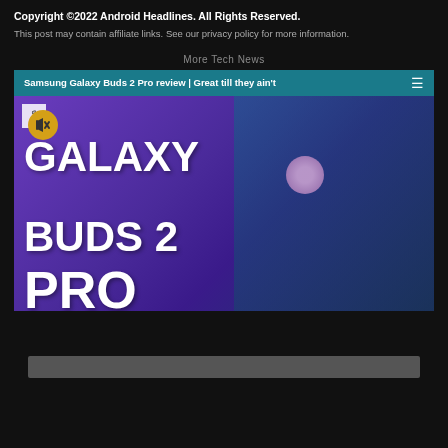Copyright ©2022 Android Headlines. All Rights Reserved.
This post may contain affiliate links. See our privacy policy for more information.
More Tech News
[Figure (screenshot): Video player thumbnail showing Samsung Galaxy Buds 2 Pro review video. Header bar with teal background reads 'Samsung Galaxy Buds 2 Pro review | Great till they ain't' with a hamburger menu icon. Thumbnail shows a man holding a purple earbuds case against a purple/blue gradient background with large white bold text reading 'GALAXY BUDS 2 PRO'. A muted (speaker off) icon button is visible in yellow circle.]
[Figure (screenshot): Partial bottom thumbnail preview of another video or content item, dark grey bar visible at bottom of page.]